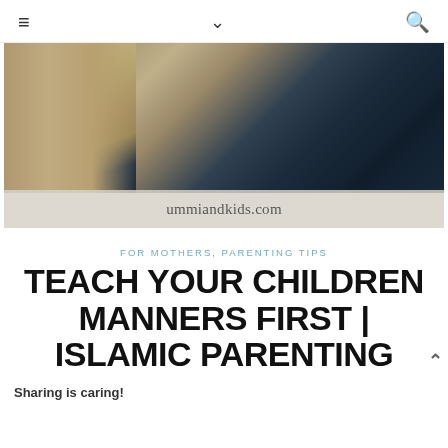≡  ∨  🔍
[Figure (photo): Children playing in sand at a beach; one child crouching in dark shirt, another standing in jeans; watermark 'ummiandkids.com' overlaid on lower portion of image]
FOR MOTHERS, PARENTING TIPS
TEACH YOUR CHILDREN MANNERS FIRST | ISLAMIC PARENTING
Sharing is caring!